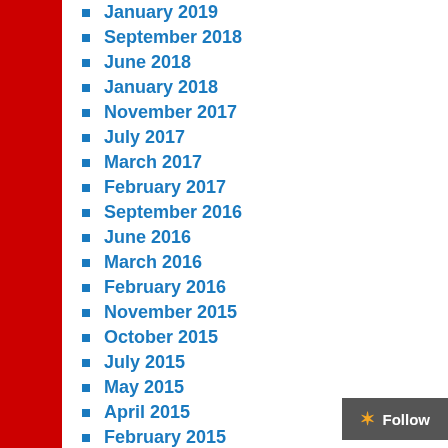January 2019
September 2018
June 2018
January 2018
November 2017
July 2017
March 2017
February 2017
September 2016
June 2016
March 2016
February 2016
November 2015
October 2015
July 2015
May 2015
April 2015
February 2015
January 2015
December 2014
November 2014